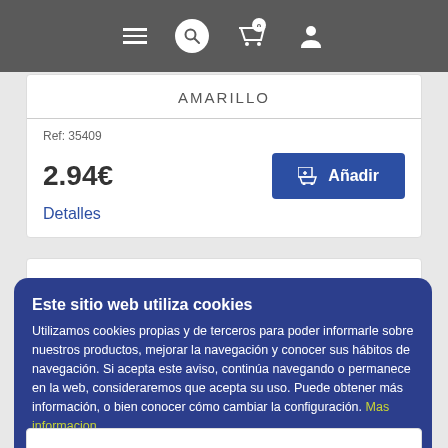Navigation bar with hamburger menu, search, cart (0 items), and user icon
AMARILLO
Ref: 35409
2.94€
Detalles
Añadir
Este sitio web utiliza cookies
Utilizamos cookies propias y de terceros para poder informarle sobre nuestros productos, mejorar la navegación y conocer sus hábitos de navegación. Si acepta este aviso, continúa navegando o permanece en la web, consideraremos que acepta su uso. Puede obtener más información, o bien conocer cómo cambiar la configuración. Mas informacion
Guardar
Cambiar ajustes